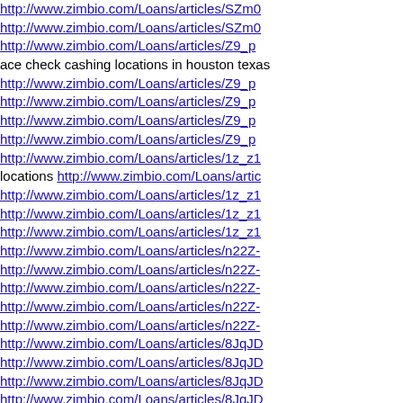http://www.zimbio.com/Loans/articles/SZm0... http://www.zimbio.com/Loans/articles/SZm0... http://www.zimbio.com/Loans/articles/Z9_p... ace check cashing locations in houston texas http://www.zimbio.com/Loans/articles/Z9_p... http://www.zimbio.com/Loans/articles/Z9_p... http://www.zimbio.com/Loans/articles/Z9_p... http://www.zimbio.com/Loans/articles/Z9_p... http://www.zimbio.com/Loans/articles/1z_z1... locations http://www.zimbio.com/Loans/arti... http://www.zimbio.com/Loans/articles/1z_z1... http://www.zimbio.com/Loans/articles/1z_z1... http://www.zimbio.com/Loans/articles/1z_z1... http://www.zimbio.com/Loans/articles/n22Z-... http://www.zimbio.com/Loans/articles/n22Z-... http://www.zimbio.com/Loans/articles/n22Z-... http://www.zimbio.com/Loans/articles/n22Z-... http://www.zimbio.com/Loans/articles/n22Z-... http://www.zimbio.com/Loans/articles/8JqJD... http://www.zimbio.com/Loans/articles/8JqJD... http://www.zimbio.com/Loans/articles/8JqJD... http://www.zimbio.com/Loans/articles/8JqJD... http://www.zimbio.com/Loans/articles/8JqJD... http://www.zimbio.com/Loans/articles/fRnx9... loans http://www.zimbio.com/Loans/articles/... http://www.zimbio.com/Loans/articles/fRnx9... http://www.zimbio.com/Loans/articles/fRnx9...